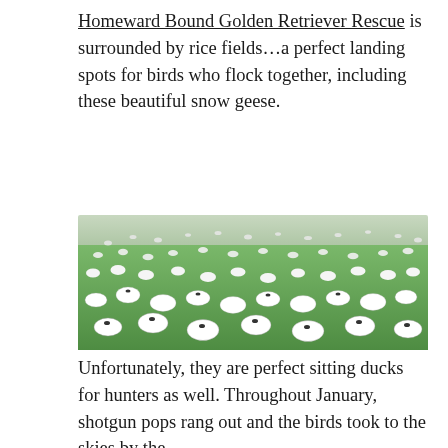Homeward Bound Golden Retriever Rescue is surrounded by rice fields...a perfect landing spots for birds who flock together, including these beautiful snow geese.
[Figure (photo): A large flock of white snow geese standing and grazing on a bright green grass field.]
Unfortunately, they are perfect sitting ducks for hunters as well. Throughout January, shotgun pops rang out and the birds took to the skies by the